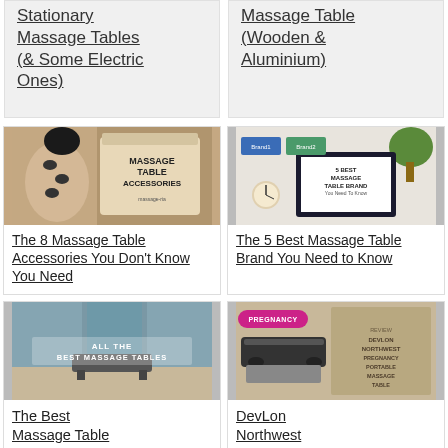Stationary Massage Tables (& Some Electric Ones)
Massage Table (Wooden & Aluminium)
[Figure (photo): Woman with hot stones on back next to a sign reading 'Massage Table Accessories']
The 8 Massage Table Accessories You Don't Know You Need
[Figure (photo): Laptop screen showing '5 Best Massage Table Brand You Need to Know' surrounded by brand logos]
The 5 Best Massage Table Brand You Need to Know
[Figure (photo): Modern room with text overlay: All The Best Massage Tables]
The Best Massage Table
[Figure (photo): Pregnancy massage table with DevLon Northwest branding]
DevLon Northwest